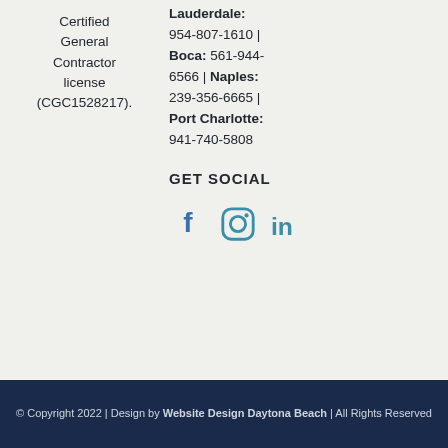Certified General Contractor license (CGC1528217).
Lauderdale: 954-807-1610 | Boca: 561-944-6566 | Naples: 239-356-6665 | Port Charlotte: 941-740-5808
GET SOCIAL
[Figure (infographic): Three social media icons: Facebook (f), Instagram (camera), LinkedIn (in) in blue/teal colors]
© Copyright 2022  |  Design by Website Design Daytona Beach  |  All Rights Reserved